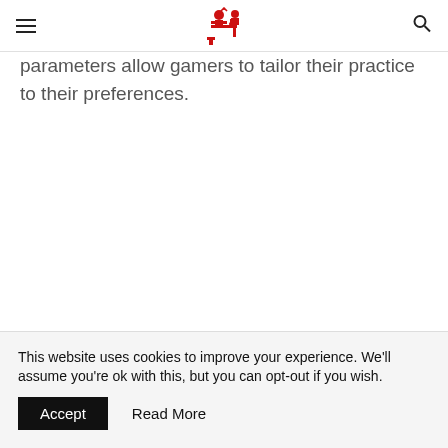[hamburger menu] [site logo] [search icon]
parameters allow gamers to tailor their practice to their preferences.
This website uses cookies to improve your experience. We'll assume you're ok with this, but you can opt-out if you wish. Accept  Read More